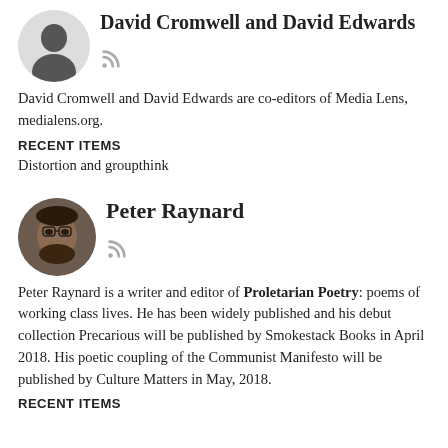David Cromwell and David Edwards
[Figure (illustration): Silhouette avatar placeholder icon for David Cromwell and David Edwards, with RSS icon below]
David Cromwell and David Edwards are co-editors of Media Lens, medialens.org.
RECENT ITEMS
Distortion and groupthink
Peter Raynard
[Figure (photo): Photo of Peter Raynard, a smiling man with glasses and a beard, with RSS icon below]
Peter Raynard is a writer and editor of Proletarian Poetry: poems of working class lives. He has been widely published and his debut collection Precarious will be published by Smokestack Books in April 2018. His poetic coupling of the Communist Manifesto will be published by Culture Matters in May, 2018.
RECENT ITEMS